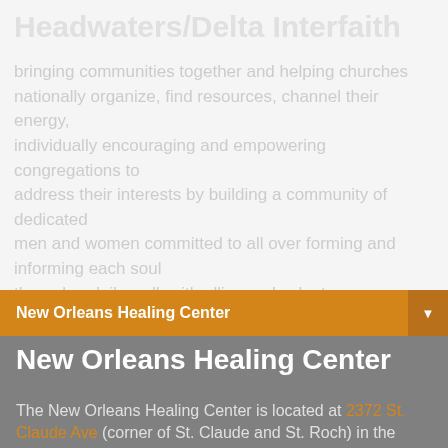Headwaters/Delta Interfaith
bringing communities together and helping churches nationally organize, find resources, channel their energy, individually encouraging and empowering congregations to address their interests by building a community of dedicated men and women committed to all over forming and informing each soul through a daily walk with allies and volunteers committed to quality, reliable, and family life.
New Orleans Healing Center
New Orleans Healing Center
The New Orleans Healing Center is located at 2372 St. Claude Ave (corner of St. Claude and St. Roch) in the